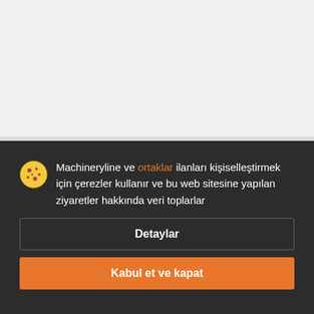[Figure (screenshot): Top grey section representing a website background]
Machineryline ve ortaklar ilanları kişiselleştirmek için çerezler kullanır ve bu web sitesine yapılan ziyaretler hakkında veri toplarlar
Detaylar
Kabul et ve kapat